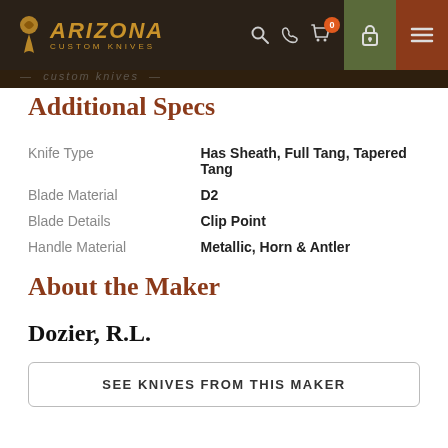Arizona Custom Knives
Additional Specs
| Property | Value |
| --- | --- |
| Knife Type | Has Sheath, Full Tang, Tapered Tang |
| Blade Material | D2 |
| Blade Details | Clip Point |
| Handle Material | Metallic, Horn & Antler |
About the Maker
Dozier, R.L.
SEE KNIVES FROM THIS MAKER